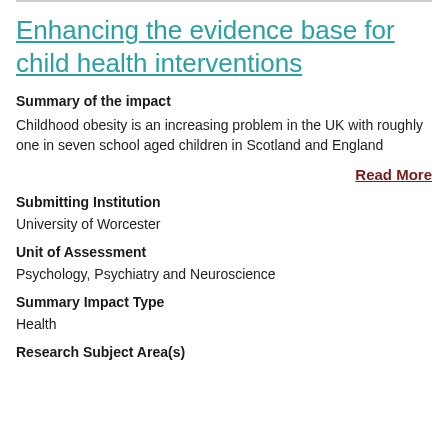Enhancing the evidence base for child health interventions
Summary of the impact
Childhood obesity is an increasing problem in the UK with roughly one in seven school aged children in Scotland and England
Read More
Submitting Institution
University of Worcester
Unit of Assessment
Psychology, Psychiatry and Neuroscience
Summary Impact Type
Health
Research Subject Area(s)